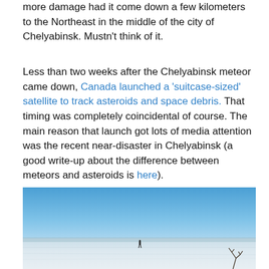more damage had it come down a few kilometers to the Northeast in the middle of the city of Chelyabinsk. Mustn't think of it.
Less than two weeks after the Chelyabinsk meteor came down, Canada launched a 'suitcase-sized' satellite to track asteroids and space debris. That timing was completely coincidental of course. The main reason that launch got lots of media attention was the recent near-disaster in Chelyabinsk (a good write-up about the difference between meteors and asteroids is here).
[Figure (photo): Outdoor winter landscape photo showing a frozen lake or flat snowy terrain under a clear blue sky. A small human figure is visible in the middle distance. A bare shrub branch appears in the lower right foreground.]